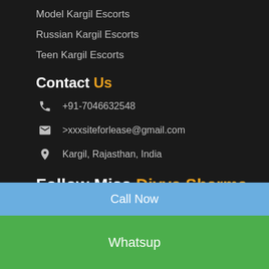Model Kargil Escorts
Russian Kargil Escorts
Teen Kargil Escorts
Contact Us
+91-7046632548
>xxxsiteforlease@gmail.com
Kargil, Rajasthan, India
Follow Miss Divya Sharma
[Figure (other): Social media icon buttons: Facebook, Twitter, Instagram, Tumblr, Pinterest]
Call Now
Whatsup